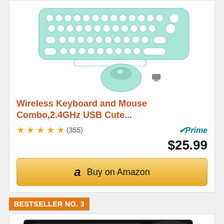[Figure (photo): Mint green wireless keyboard and mouse combo with USB dongle on white background]
Wireless Keyboard and Mouse Combo,2.4GHz USB Cute...
★★★★½ (355) Prime $25.99
Buy on Amazon
BESTSELLER NO. 3
[Figure (photo): Gaming mouse pad with green dragon design and gaming keyboard]